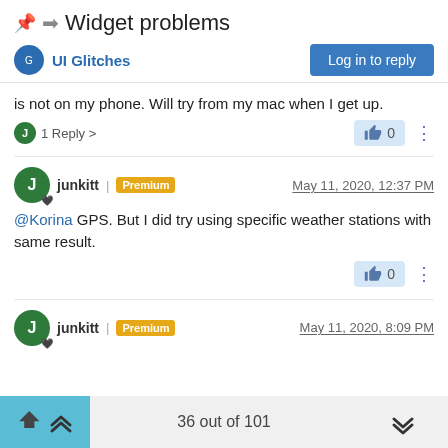Widget problems
UI Glitches
is not on my phone. Will try from my mac when I get up.
1 Reply >
junkitt | Premium  May 11, 2020, 12:37 PM
@Korina GPS. But I did try using specific weather stations with same result.
junkitt | Premium  May 11, 2020, 8:09 PM
36 out of 101